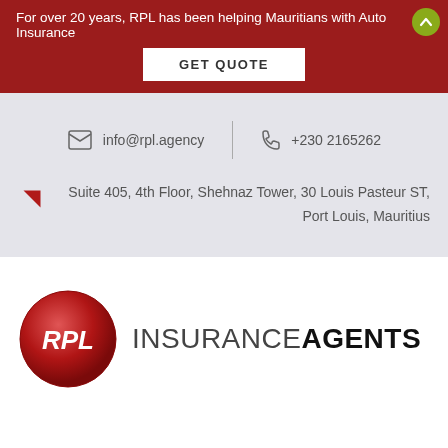For over 20 years, RPL has been helping Mauritians with Auto Insurance
GET QUOTE
info@rpl.agency
+230 2165262
Suite 405, 4th Floor, Shehnaz Tower, 30 Louis Pasteur ST, Port Louis, Mauritius
[Figure (logo): RPL Insurance Agents logo with red circular emblem and text]